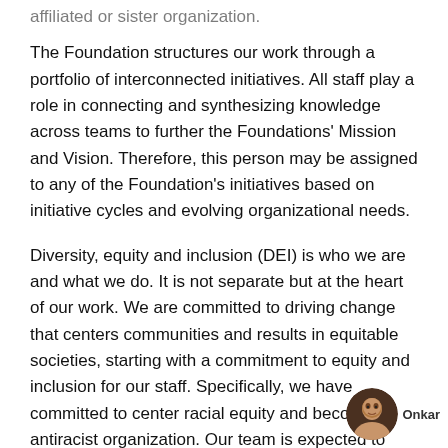affiliated or sister organization.
The Foundation structures our work through a portfolio of interconnected initiatives. All staff play a role in connecting and synthesizing knowledge across teams to further the Foundations' Mission and Vision. Therefore, this person may be assigned to any of the Foundation's initiatives based on initiative cycles and evolving organizational needs.
Diversity, equity and inclusion (DEI) is who we are and what we do. It is not separate but at the heart of our work. We are committed to driving change that centers communities and results in equitable societies, starting with a commitment to equity and inclusion for our staff. Specifically, we have committed to center racial equity and become an antiracist organization. Our team is expected to demonstrate and uphold our core values as well as Onkar